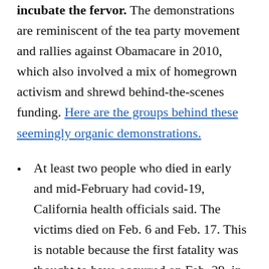incubate the fervor. The demonstrations are reminiscent of the tea party movement and rallies against Obamacare in 2010, which also involved a mix of homegrown activism and shrewd behind-the-scenes funding. Here are the groups behind these seemingly organic demonstrations.
At least two people who died in early and mid-February had covid-19, California health officials said. The victims died on Feb. 6 and Feb. 17. This is notable because the first fatality was thought to have occurred on Feb. 29, in Washington state.